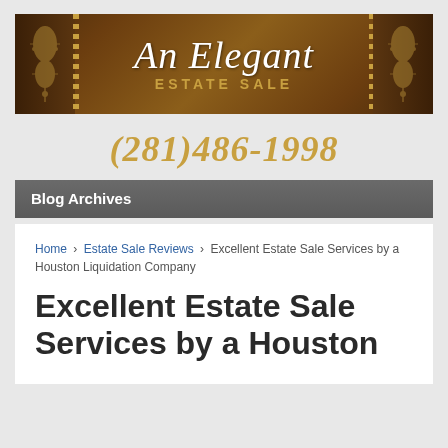[Figure (logo): An Elegant Estate Sale banner logo with brown background, script text 'An Elegant' and 'ESTATE SALE' in gold, with decorative ornaments on sides]
(281)486-1998
Blog Archives
Home › Estate Sale Reviews › Excellent Estate Sale Services by a Houston Liquidation Company
Excellent Estate Sale Services by a Houston